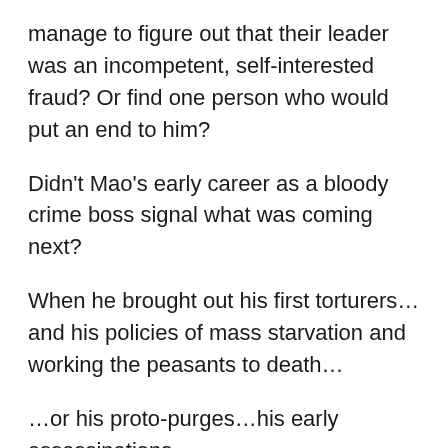manage to figure out that their leader was an incompetent, self-interested fraud? Or find one person who would put an end to him?
Didn't Mao's early career as a bloody crime boss signal what was coming next?
When he brought out his first torturers…and his policies of mass starvation and working the peasants to death…
…or his proto-purges…his early assassinations…
…or when he got his hands on a little bit of ground where he could set up his model society, and it turned out to be a miserable prison for everybody but its bosses…
…wasn't it clear where he would take the nation? An